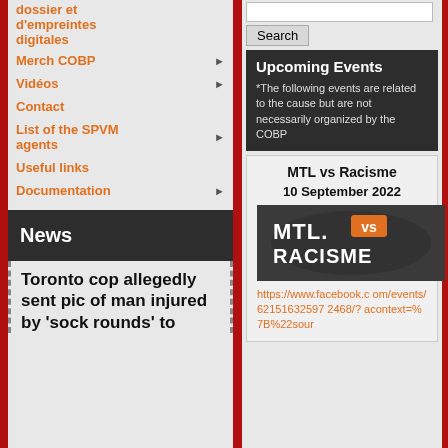dossier et d'empreintes digitales
Merch COBP
Vidéos
Contact
List of the SPVM agents
Useful links
Documentation
News
Toronto cop allegedly sent pic of man injured by 'sock rounds' to
Search
Upcoming Events
*The following events are related to the cause but are not necessarily organized by the COBP
MTL vs Racisme
10 September 2022
[Figure (logo): MTL vs RACISME logo in white text on dark background with orange 'VS' badge]
https://www.facebook.com/events/621516325972468/?acontext=%7B%22sour